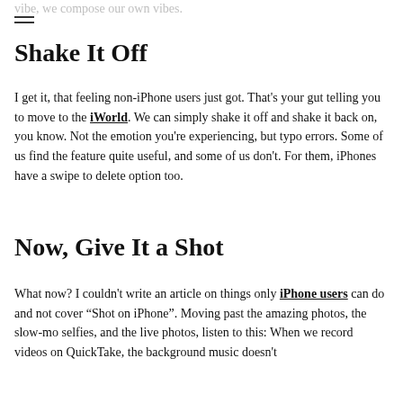vibe, we compose our own vibes.
Shake It Off
I get it, that feeling non-iPhone users just got. That's your gut telling you to move to the iWorld. We can simply shake it off and shake it back on, you know. Not the emotion you're experiencing, but typo errors. Some of us find the feature quite useful, and some of us don't. For them, iPhones have a swipe to delete option too.
Now, Give It a Shot
What now? I couldn't write an article on things only iPhone users can do and not cover "Shot on iPhone". Moving past the amazing photos, the slow-mo selfies, and the live photos, listen to this: When we record videos on QuickTake, the background music doesn't